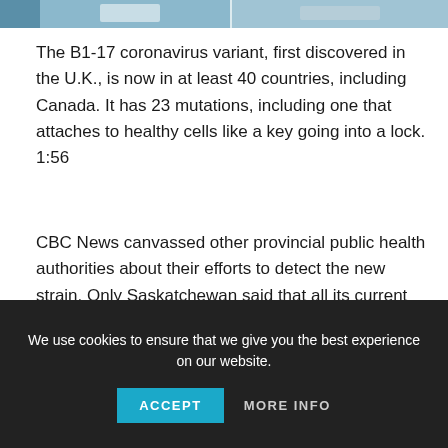[Figure (photo): Partial photo strip visible at the top of the page, showing a blue-toned laboratory or medical environment.]
The B1-17 coronavirus variant, first discovered in the U.K., is now in at least 40 countries, including Canada. It has 23 mutations, including one that attaches to healthy cells like a key going into a lock. 1:56
CBC News canvassed other provincial public health authorities about their efforts to detect the new strain. Only Saskatchewan said that all its current COVID-19 testing will detect the variant. Most provinces said that, like Ontario, they send positive test samples for further scrutiny if the context warrants.
We use cookies to ensure that we give you the best experience on our website.
ACCEPT
MORE INFO